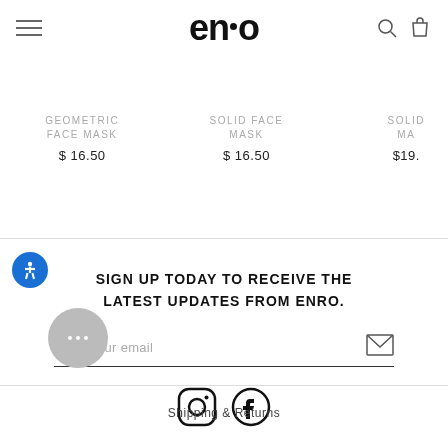enro
GEOMETRIC FACE MASK $16.50
SOLID FACE MASK $16.50
SOLID MA $19.
SIGN UP TODAY TO RECEIVE THE LATEST UPDATES FROM ENRO.
Enter your email
[Figure (other): Instagram and Facebook social media icons]
Shipping & Returns